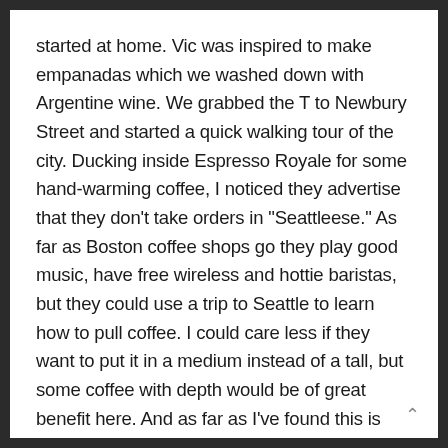started at home. Vic was inspired to make empanadas which we washed down with Argentine wine. We grabbed the T to Newbury Street and started a quick walking tour of the city. Ducking inside Espresso Royale for some hand-warming coffee, I noticed they advertise that they don't take orders in "Seattleese." As far as Boston coffee shops go they play good music, have free wireless and hottie baristas, but they could use a trip to Seattle to learn how to pull coffee. I could care less if they want to put it in a medium instead of a tall, but some coffee with depth would be of great benefit here. And as far as I've found this is some of the better coffee outside of the North End.